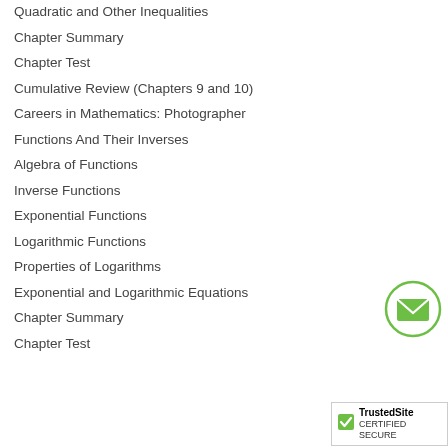Quadratic and Other Inequalities
Chapter Summary
Chapter Test
Cumulative Review (Chapters 9 and 10)
Careers in Mathematics: Photographer
Functions And Their Inverses
Algebra of Functions
Inverse Functions
Exponential Functions
Logarithmic Functions
Properties of Logarithms
Exponential and Logarithmic Equations
Chapter Summary
Chapter Test
[Figure (illustration): Green circle with envelope/email icon inside]
[Figure (logo): TrustedSite Certified Secure badge with green checkmark]